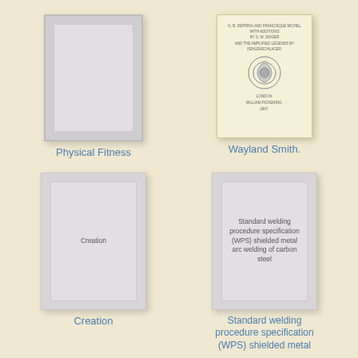[Figure (illustration): Book cover placeholder card for Physical Fitness, grey card with inner lighter rectangle]
Physical Fitness
[Figure (illustration): Book cover for Wayland Smith, yellowed antique book title page with emblem/seal, publisher William Pickering, London]
Wayland Smith.
[Figure (illustration): Book cover placeholder card for Creation, grey card with inner lighter rectangle containing text 'Creation']
Creation
[Figure (illustration): Book cover placeholder card for Standard welding procedure specification (WPS) shielded metal arc welding of carbon steel, grey card with text]
Standard welding procedure specification (WPS) shielded metal